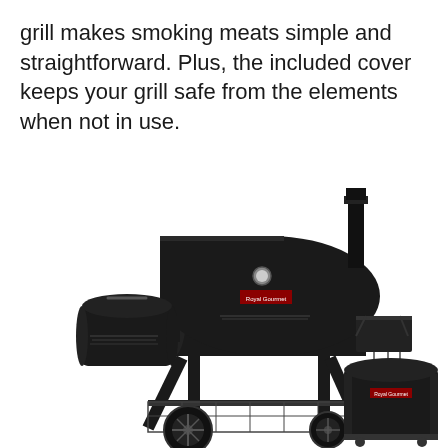grill makes smoking meats simple and straightforward. Plus, the included cover keeps your grill safe from the elements when not in use.
[Figure (photo): A black offset charcoal smoker grill with a side firebox, chimney stack, side shelf with hooks, bottom storage rack, and large wheels. Next to it is a black grill cover. The grill has a Royal Gourmet brand logo and a built-in thermometer.]